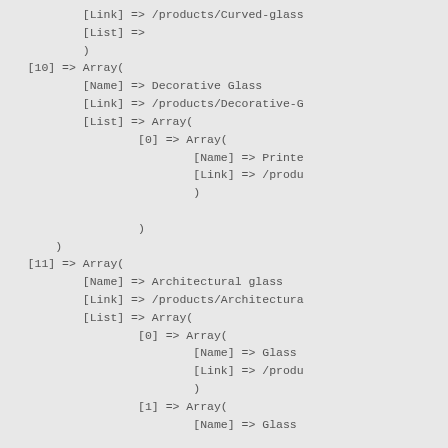[Link] => /products/Curved-glass
            [List] =>
            )
[10] => Array(
        [Name] => Decorative Glass
        [Link] => /products/Decorative-G
        [List] => Array(
                [0] => Array(
                        [Name] => Printe
                        [Link] => /produ
                        )

                )
        )
[11] => Array(
        [Name] => Architectural glass
        [Link] => /products/Architectura
        [List] => Array(
                [0] => Array(
                        [Name] => Glass
                        [Link] => /produ
                        )
                [1] => Array(
                        [Name] => Glass